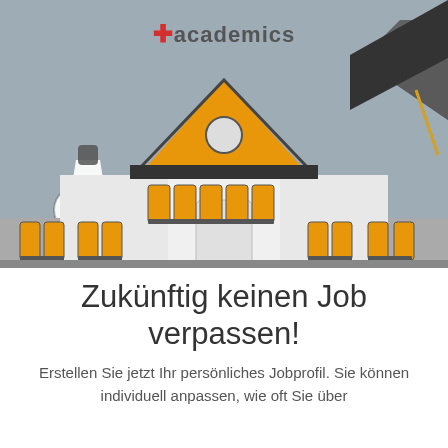[Figure (illustration): academics brand illustration showing a university building with orange windows and an orange roof triangle, a lab flask on the left, a graduation cap on the right, and the academics logo at the top center with an X close button in the top right corner]
Zukünftig keinen Job verpassen!
Erstellen Sie jetzt Ihr persönliches Jobprofil. Sie können individuell anpassen, wie oft Sie über